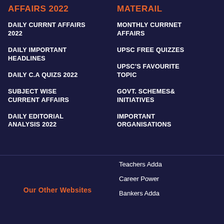AFFAIRS 2022
DAILY CURRNT AFFAIRS 2022
DAILY IMPORTANT HEADLINES
DAILY C.A QUIZS 2022
SUBJECT WISE CURRENT AFFAIRS
DAILY EDITORIAL ANALYSIS 2022
MATERAIL
MONTHLY CURRNET AFFAIRS
UPSC FREE QUIZZES
UPSC'S FAVOURITE TOPIC
GOVT. SCHEMES& INITIATIVES
IMPORTANT ORGANISATIONS
Our Other Websites
Teachers Adda
Career Power
Bankers Adda